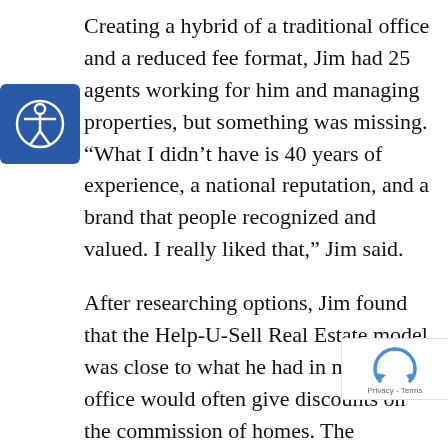Creating a hybrid of a traditional office and a reduced fee format, Jim had 25 agents working for him and managing properties, but something was missing. “What I didn’t have is 40 years of experience, a national reputation, and a brand that people recognized and valued. I really liked that,” Jim said.
After researching options, Jim found that the Help-U-Sell Real Estate model was close to what he had in mind. “My office would often give discounts on the commission of homes. The Help-U-Sell model was easier to explain to my clients,” Jim added. Rather than continuing with a big office and staff, Jim pared operations down to four people, including himself. “It was